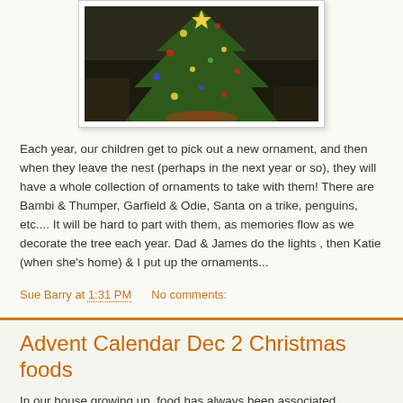[Figure (photo): A Christmas tree decorated with ornaments, placed in a room with what appears to be a fireplace or furniture in the background.]
Each year, our children get to pick out a new ornament, and then when they leave the nest (perhaps in the next year or so), they will have a whole collection of ornaments to take with them! There are Bambi & Thumper, Garfield & Odie, Santa on a trike, penguins, etc.... It will be hard to part with them, as memories flow as we decorate the tree each year. Dad & James do the lights , then Katie (when she's home) & I put up the ornaments...
Sue Barry at 1:31 PM   No comments:
Advent Calendar Dec 2 Christmas foods
In our house growing up, food has always been associated